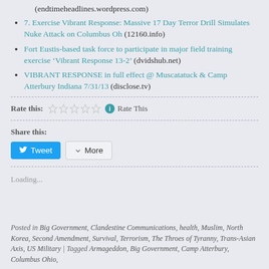(endtimeheadlines.wordpress.com)
7. Exercise Vibrant Response: Massive 17 Day Terror Drill Simulates Nuke Attack on Columbus Oh (12160.info)
Fort Eustis-based task force to participate in major field training exercise ‘Vibrant Response 13-2’ (dvidshub.net)
VIBRANT RESPONSE in full effect @ Muscatatuck & Camp Atterbury Indiana 7/31/13 (disclose.tv)
Rate this:
Rate This
Share this:
Tweet
More
Loading...
Posted in Big Government, Clandestine Communications, health, Muslim, North Korea, Second Amendment, Survival, Terrorism, The Throes of Tyranny, Trans-Asian Axis, US Military | Tagged Armageddon, Big Government, Camp Atterbury, Columbus Ohio,